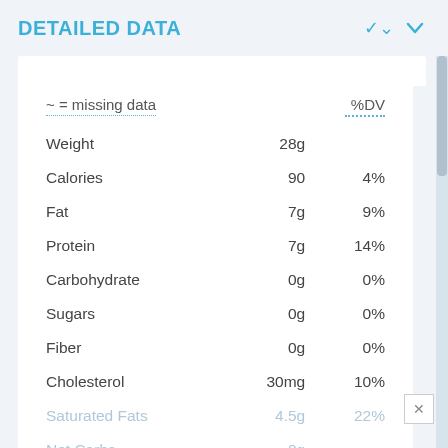DETAILED DATA
~ = missing data    %DV
|  |  | %DV |
| --- | --- | --- |
| Weight | 28g |  |
| Calories | 90 | 4% |
| Fat | 7g | 9% |
| Protein | 7g | 14% |
| Carbohydrate | 0g | 0% |
| Sugars | 0g | 0% |
| Fiber | 0g | 0% |
| Cholesterol | 30mg | 10% |
| Saturated Fats | 4.5g | 22% |
| Net Carbs | 0g |  |